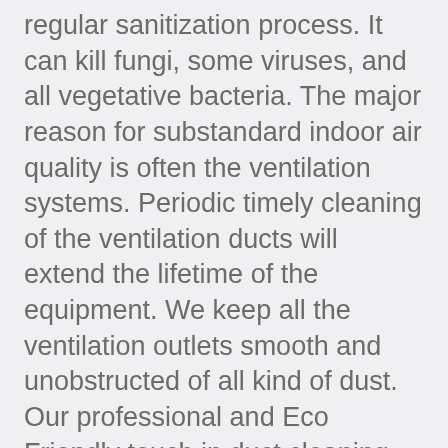regular sanitization process. It can kill fungi, some viruses, and all vegetative bacteria. The major reason for substandard indoor air quality is often the ventilation systems. Periodic timely cleaning of the ventilation ducts will extend the lifetime of the equipment. We keep all the ventilation outlets smooth and unobstructed of all kind of dust. Our professional and Eco Friendly touch in duct cleaning lets the equipment as well as environment shine. https://folkloresque.net/community/profile/beatrice967927/ Most carpet cleaning services will charge you extra to clean your Berber carpets with a special method. On